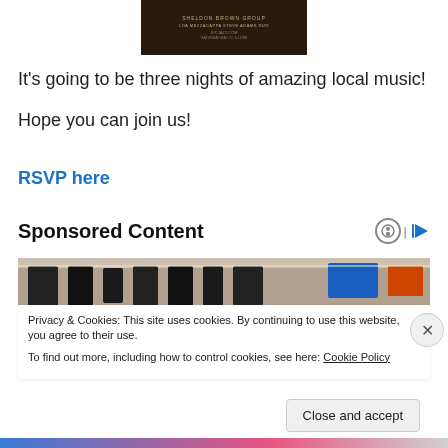[Figure (photo): Dark brown concert/music event promotional image with text: SHELDON BROWN GROUP, LDA MEZZACAPPA STEVE ADAMS DUO, JFCJAZZ.COM, SATURDAY MAY 22, 6-11PM]
It's going to be three nights of amazing local music!
Hope you can join us!
RSVP here
Sponsored Content
[Figure (photo): Interior of a store/supermarket with blue and red displays, shelving, and an employee visible]
Privacy & Cookies: This site uses cookies. By continuing to use this website, you agree to their use.
To find out more, including how to control cookies, see here: Cookie Policy
Close and accept